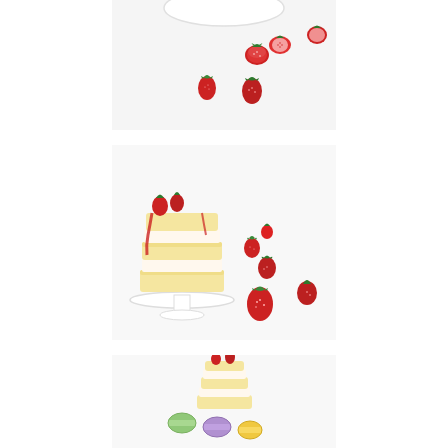[Figure (photo): Top-down view of strawberries (whole and halved) scattered on a white background with a white plate partially visible at top]
[Figure (photo): A layered cake with strawberry sauce on a white cake stand, with multiple fresh strawberries scattered around on white background]
[Figure (photo): A small layered strawberry shortcake with colorful macarons visible in the background on a white surface]